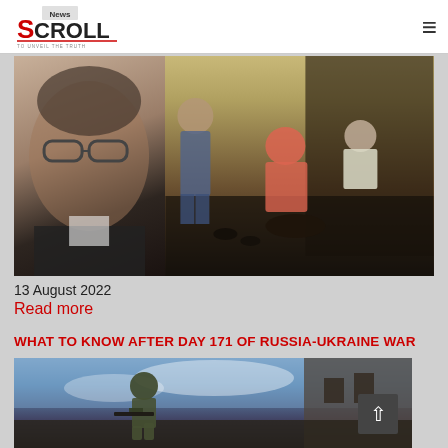News Scroll - To Unveil The Truth
[Figure (photo): Left: portrait of an older man with glasses and grey beard wearing a black sweater. Right: several people gathered around someone on the floor in an indoor venue.]
13 August 2022
Read more
WHAT TO KNOW AFTER DAY 171 OF RUSSIA-UKRAINE WAR
[Figure (photo): A soldier in combat gear crouching and moving forward with a weapon, against a background of buildings and sky.]